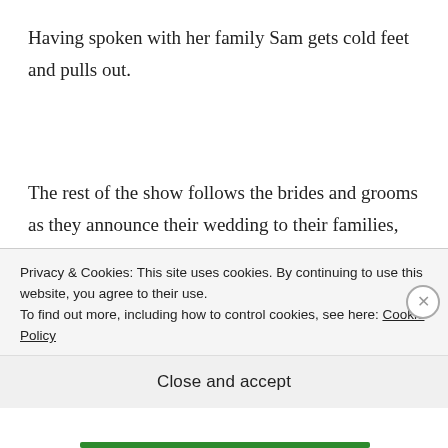Having spoken with her family Sam gets cold feet and pulls out.
The rest of the show follows the brides and grooms as they announce their wedding to their families, organize their hen and stag dos and choose their outfit before the
Privacy & Cookies: This site uses cookies. By continuing to use this website, you agree to their use.
To find out more, including how to control cookies, see here: Cookie Policy
Close and accept